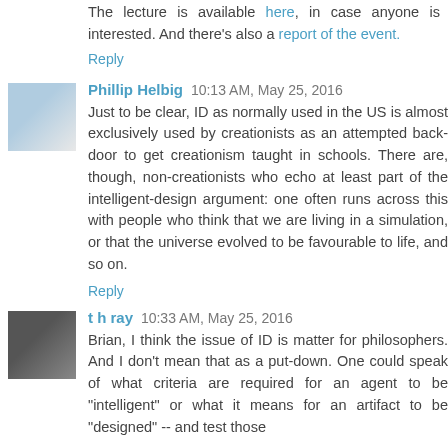The lecture is available here, in case anyone is interested. And there's also a report of the event.
Reply
Phillip Helbig  10:13 AM, May 25, 2016
Just to be clear, ID as normally used in the US is almost exclusively used by creationists as an attempted back-door to get creationism taught in schools. There are, though, non-creationists who echo at least part of the intelligent-design argument: one often runs across this with people who think that we are living in a simulation, or that the universe evolved to be favourable to life, and so on.
Reply
t h ray  10:33 AM, May 25, 2016
Brian, I think the issue of ID is matter for philosophers. And I don't mean that as a put-down. One could speak of what criteria are required for an agent to be "intelligent" or what it means for an artifact to be "designed" -- and test those